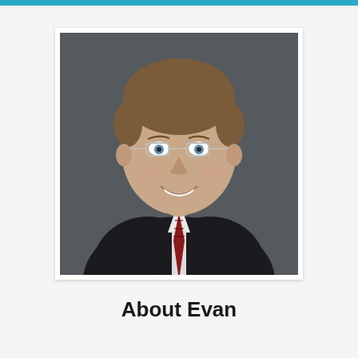[Figure (photo): Professional headshot of a smiling man with short brown hair, glasses, wearing a dark suit jacket, white dress shirt, and red striped tie, photographed against a dark gray background.]
About Evan